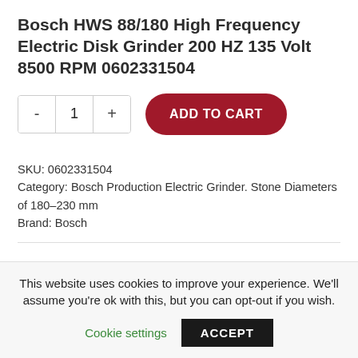Bosch HWS 88/180 High Frequency Electric Disk Grinder 200 HZ 135 Volt 8500 RPM 0602331504
SKU: 0602331504
Category: Bosch Production Electric Grinder. Stone Diameters of 180–230 mm
Brand: Bosch
This website uses cookies to improve your experience. We'll assume you're ok with this, but you can opt-out if you wish.
Cookie settings   ACCEPT